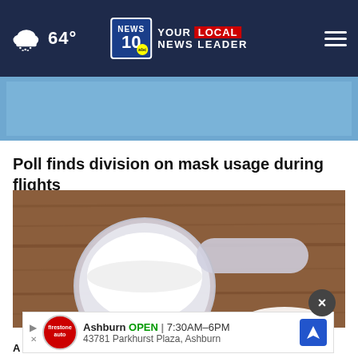64° NEWS 10 YOUR LOCAL NEWS LEADER
[Figure (photo): Blue sky image placeholder in a light blue banner]
Poll finds division on mask usage during flights
[Figure (photo): A plastic measuring scoop filled with white powder on a wooden surface]
Ashburn OPEN | 7:30AM–6PM 43781 Parkhurst Plaza, Ashburn